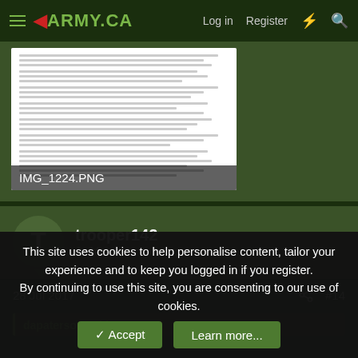ARMY.CA — Log in   Register
[Figure (screenshot): Screenshot of a document image (IMG_1224.PNG) showing regulatory text with numbered subsections]
IMG_1224.PNG
trooper142
Jr. Member
28 Jul 2017   #14
dapaterson said:
This site uses cookies to help personalise content, tailor your experience and to keep you logged in if you register.
By continuing to use this site, you are consenting to our use of cookies.